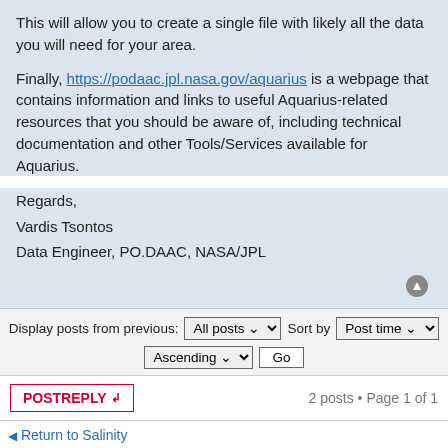This will allow you to create a single file with likely all the data you will need for your area.
Finally, https://podaac.jpl.nasa.gov/aquarius is a webpage that contains information and links to useful Aquarius-related resources that you should be aware of, including technical documentation and other Tools/Services available for Aquarius.
Regards,
Vardis Tsontos
Data Engineer, PO.DAAC, NASA/JPL
Display posts from previous: All posts  Sort by  Post time
Ascending  Go
POSTREPLY   2 posts • Page 1 of 1
Return to Salinity
Jump t
Salinity